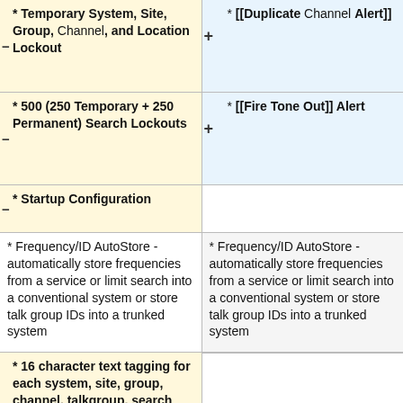* Temporary System, Site, Group, Channel, and Location Lockout
* [[Duplicate Channel Alert]]
* 500 (250 Temporary + 250 Permanent) Search Lockouts
* [[Fire Tone Out]] Alert
* Startup Configuration
* Frequency/ID AutoStore - automatically store frequencies from a service or limit search into a conventional system or store talk group IDs into a trunked system
* Frequency/ID AutoStore - automatically store frequencies from a service or limit search into a conventional system or store talk group IDs into a trunked system
* 16 character text tagging for each system, site, group, channel, talkgroup, search range, location,